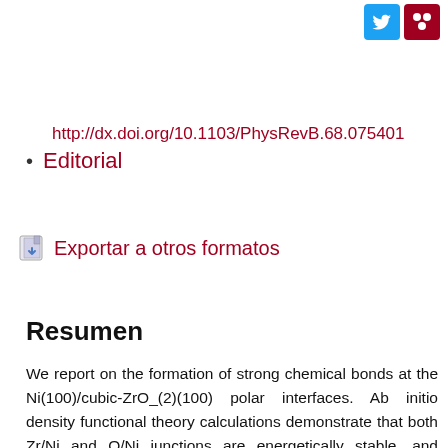[Figure (other): Twitter and Mendeley social sharing icons in the top right corner]
http://dx.doi.org/10.1103/PhysRevB.68.075401
Editorial
Exportar a otros formatos
Resumen
We report on the formation of strong chemical bonds at the Ni(100)/cubic-ZrO_(2)(100) polar interfaces. Ab initio density functional theory calculations demonstrate that both Zr/Ni and O/Ni junctions are energetically stable, and predict that two different interactions determine the interface adhesion. Our results reveal that O-Ni ionic bonds are formed by Ni electron donation, while the Zr-Ni